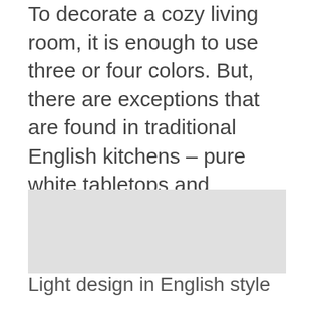To decorate a cozy living room, it is enough to use three or four colors. But, there are exceptions that are found in traditional English kitchens – pure white tabletops and accessories in the form of vases or coasters..
[Figure (photo): Image placeholder for English style light design interior photo]
Light design in English style